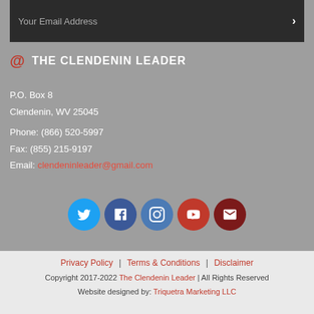Your Email Address
@ THE CLENDENIN LEADER
P.O. Box 8
Clendenin, WV 25045

Phone: (866) 520-5997
Fax: (855) 215-9197
Email: clendeninleader@gmail.com
[Figure (illustration): Row of five social media icons: Twitter (blue), Facebook (dark blue), Instagram (medium blue), YouTube (red), Mail (dark red)]
Privacy Policy | Terms & Conditions | Disclaimer
Copyright 2017-2022 The Clendenin Leader | All Rights Reserved
Website designed by: Triquetra Marketing LLC